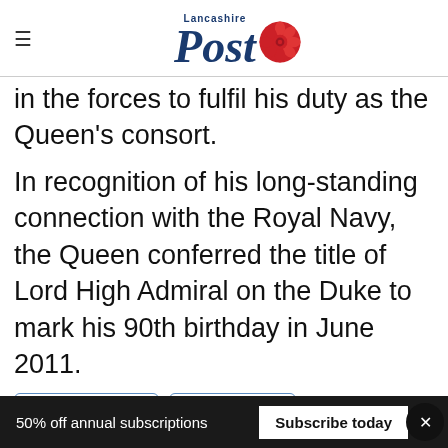Lancashire Post
in the forces to fulfil his duty as the Queen's consort.
In recognition of his long-standing connection with the Royal Navy, the Queen conferred the title of Lord High Admiral on the Duke to mark his 90th birthday in June 2011.
Duke Of Edinburgh
Prince Of Wales
[Figure (infographic): Social sharing icons: Facebook, Twitter, Phone, Email]
50% off annual subscriptions  Subscribe today